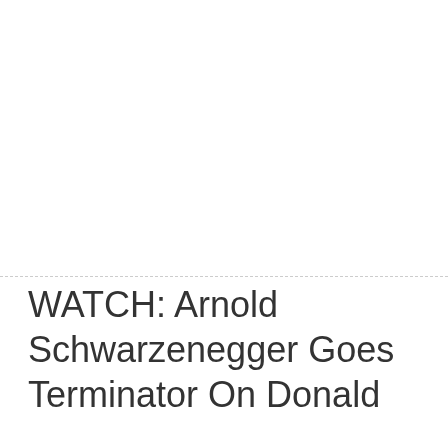WATCH: Arnold Schwarzenegger Goes Terminator On Donald